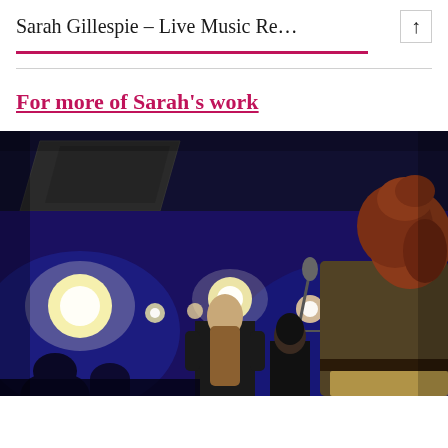Sarah Gillespie – Live Music Re…
For more of Sarah's work
[Figure (photo): Concert photo showing performers on stage with microphones and stage lighting (blue/purple tones), with audience members in the foreground and a performer with red hair in the right foreground.]